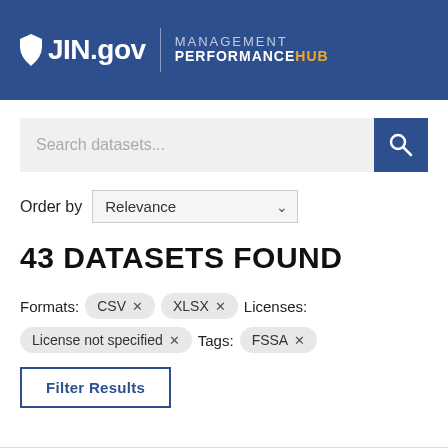[Figure (logo): IN.gov Management Performance Hub logo on blue header background]
Search datasets...
Order by  Relevance
43 DATASETS FOUND
Formats:  CSV ×  XLSX ×  Licenses:
License not specified ×  Tags:  FSSA ×
Filter Results